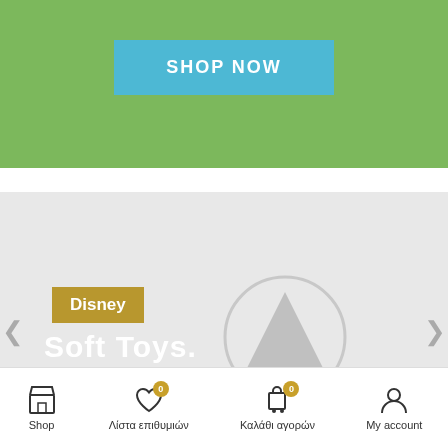[Figure (screenshot): Green banner section with a blue 'SHOP NOW' button]
[Figure (screenshot): Gray carousel slide showing Disney Soft Toys with a pine tree circle icon, left/right navigation arrows, READ MORE link, and scroll-up button]
[Figure (screenshot): Bottom navigation bar with Shop, Λίστα επιθυμιών (0), Καλάθι αγορών (0), and My account icons]